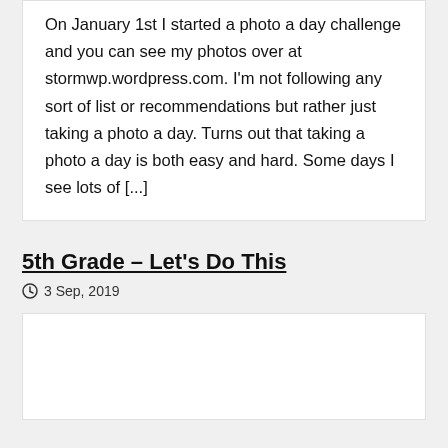On January 1st I started a photo a day challenge and you can see my photos over at stormwp.wordpress.com. I'm not following any sort of list or recommendations but rather just taking a photo a day. Turns out that taking a photo a day is both easy and hard. Some days I see lots of [...]
5th Grade – Let's Do This
3 Sep, 2019